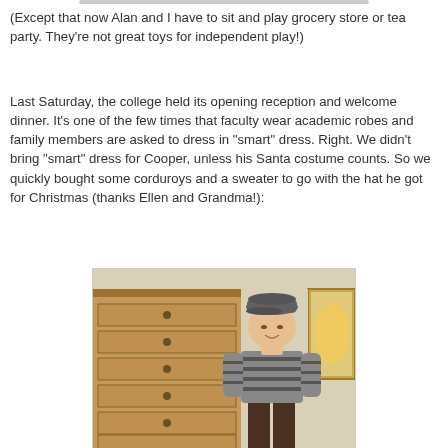(Except that now Alan and I have to sit and play grocery store or tea party.  They're not great toys for independent play!)
Last Saturday, the college held its opening reception and welcome dinner.  It's one of the few times that faculty wear academic robes and family members are asked to dress in "smart" dress.  Right.  We didn't bring "smart" dress for Cooper, unless his Santa costume counts.  So we quickly bought some corduroys and a sweater to go with the hat he got for Christmas (thanks Ellen and Grandma!):
[Figure (photo): A young boy wearing a flat cap hat, grey striped sweater, and dark corduroys, standing in front of a wooden dresser and a framed mirror on a cream-colored wall.]